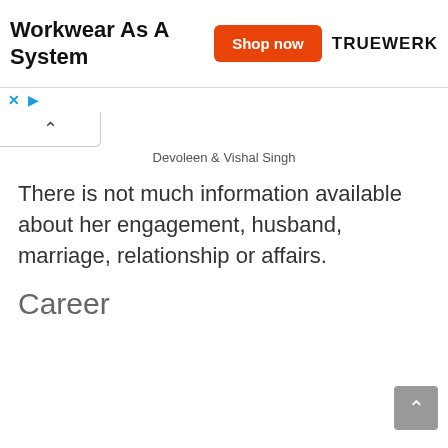[Figure (screenshot): Advertisement banner for TRUEWERK workwear with orange 'Shop now' button and text 'Workwear As A System']
Devoleen & Vishal Singh
There is not much information available about her engagement, husband, marriage, relationship or affairs.
Career